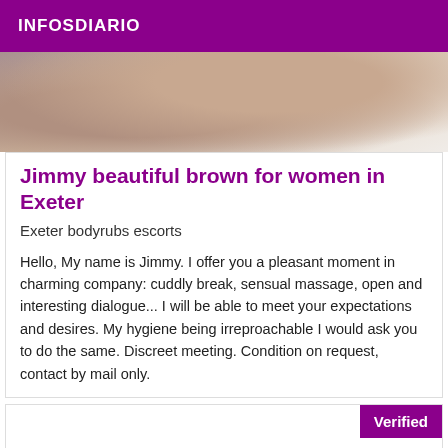INFOSDIARIO
[Figure (photo): Cropped photo showing partial view of a person, warm skin tones with light fabric, top portion of a listing card]
Jimmy beautiful brown for women in Exeter
Exeter bodyrubs escorts
Hello, My name is Jimmy. I offer you a pleasant moment in charming company: cuddly break, sensual massage, open and interesting dialogue... I will be able to meet your expectations and desires. My hygiene being irreproachable I would ask you to do the same. Discreet meeting. Condition on request, contact by mail only.
Verified